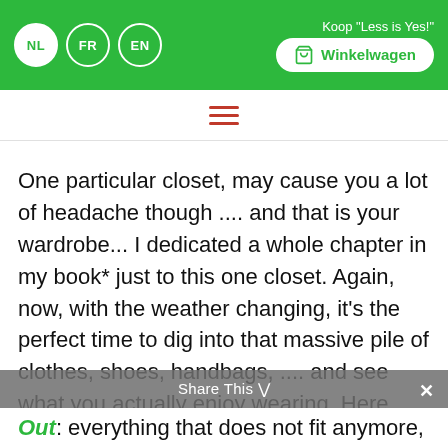NL FR EN | Koop "Less is Yes!" Winkelwagen
[Figure (other): Hamburger menu icon (three horizontal red lines)]
One particular closet, may cause you a lot of headache though .... and that is your wardrobe... I dedicated a whole chapter in my book* just to this one closet. Again, now, with the weather changing, it's the perfect time to dig into that massive pile of clothes, shoes, handbags, .... and see what you actually enjoy wearing. Here again: make 3 piles: out, maybe, keep.
Share This ∨  ✕
Out: everything that does not fit anymore, that